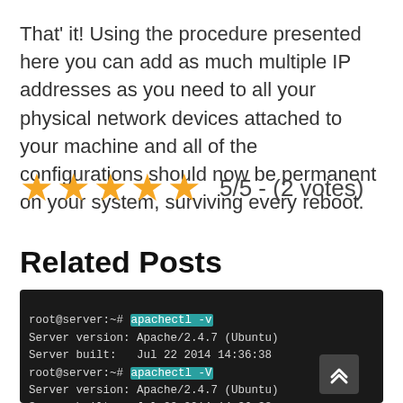That' it! Using the procedure presented here you can add as much multiple IP addresses as you need to all your physical network devices attached to your machine and all of the configurations should now be permanent on your system, surviving every reboot.
[Figure (other): Five gold stars rating with text '5/5 - (2 votes)']
Related Posts
[Figure (screenshot): Terminal screenshot showing apachectl -v and apachectl -V commands with Apache/2.4.7 (Ubuntu) server info, built Jul 22 2014 14:36:38, Server's Module Magic Number: 20120211:27, Server loaded: APR 1.5.1-dev APR-UTIL 1.5.3, Compiled using: APR 1.5.1-dev APR-UTIL 1.5.3, Architecture: 64-bit, Server MPM: prefork, threaded: no]